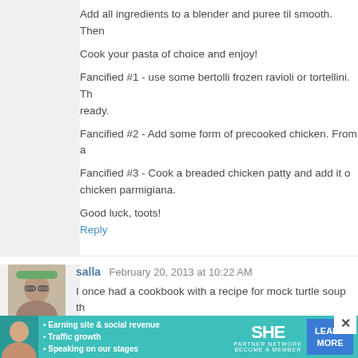Add all ingredients to a blender and puree til smooth. Then
Cook your pasta of choice and enjoy!
Fancified #1 - use some bertolli frozen ravioli or tortellini. Th ready.
Fancified #2 - Add some form of precooked chicken. From a
Fancified #3 - Cook a breaded chicken patty and add it o chicken parmigiana.
Good luck, toots!
Reply
[Figure (photo): Avatar photo of commenter salla, a person wearing glasses and a colorful headband]
salla  February 20, 2013 at 10:22 AM
I once had a cookbook with a recipe for mock turtle soup th
As for easy cooking... did you know that fully cooked rotis can be shredded up and used in easy recipes like chicken t
Many stores also sell fully cooked shredded pork, mashed are in the cold section near the meats in what look su
[Figure (infographic): SHE Partner Network advertisement banner with teal background, bullet points about earning site & social revenue, traffic growth, speaking on stages, SHE logo, and LEARN MORE button]